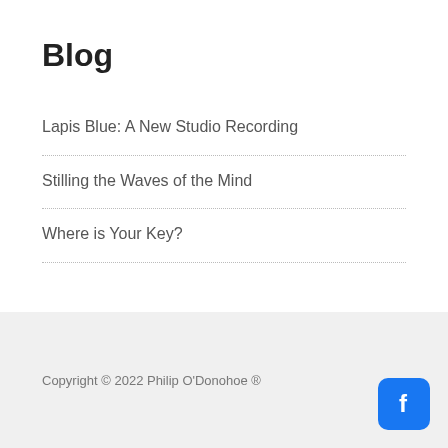Blog
Lapis Blue: A New Studio Recording
Stilling the Waves of the Mind
Where is Your Key?
Copyright © 2022 Philip O'Donohoe ®